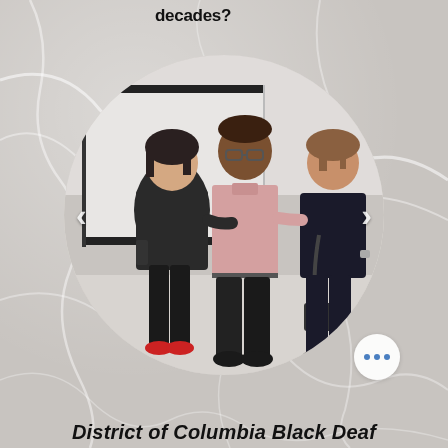decades?
[Figure (photo): Circular cropped photo of three people standing together in an indoor setting with a whiteboard behind them. A woman in dark clothing on the left, a tall man in a light pink shirt in the center, and a woman in dark clothing on the right. Navigation arrows are visible on left and right sides of the image.]
District of Columbia Black Deaf